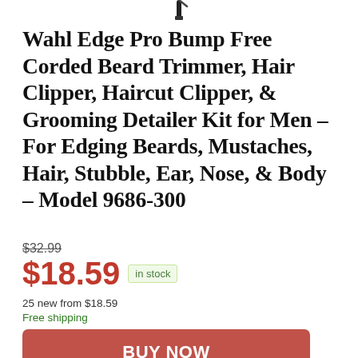[Figure (photo): Partial top view of a Wahl hair trimmer/clipper against white background]
Wahl Edge Pro Bump Free Corded Beard Trimmer, Hair Clipper, Haircut Clipper, & Grooming Detailer Kit for Men – For Edging Beards, Mustaches, Hair, Stubble, Ear, Nose, & Body – Model 9686-300
$32.99
$18.59 in stock
25 new from $18.59
Free shipping
BUY NOW
Amazon.com